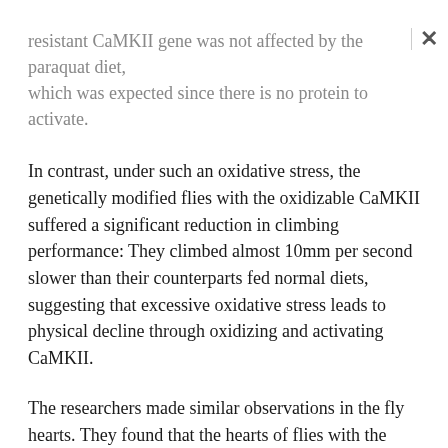resistant CaMKII gene was not affected by the paraquat diet, which was expected since there is no protein to activate.
In contrast, under such an oxidative stress, the genetically modified flies with the oxidizable CaMKII suffered a significant reduction in climbing performance: They climbed almost 10mm per second slower than their counterparts fed normal diets, suggesting that excessive oxidative stress leads to physical decline through oxidizing and activating CaMKII.
The researchers made similar observations in the fly hearts. They found that the hearts of flies with the oxidizable CaMKII contracted more forcefully and relaxed more quickly than flies with oxidation-resistant CaMKII. However, the performance advantage of the hearts in the genetically modified flies was reversed when the researchers neutralized the oxidants with an antioxidant. The researchers also found that the hearts of the